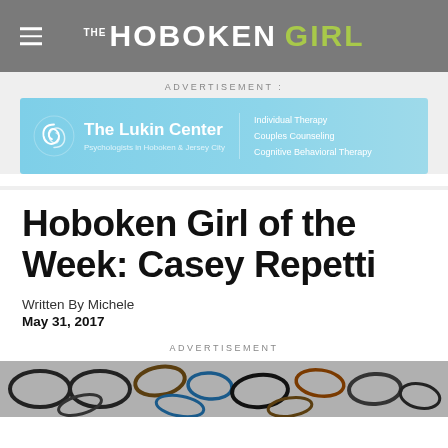THE HOBOKEN GIRL
ADVERTISEMENT
[Figure (illustration): The Lukin Center advertisement banner: blue gradient background with swirl logo, text 'The Lukin Center - Psychologists in Hoboken & Jersey City', services listed: Individual Therapy, Couples Counseling, Cognitive Behavioral Therapy]
Hoboken Girl of the Week: Casey Repetti
Written By Michele
May 31, 2017
ADVERTISEMENT
[Figure (photo): Photo of many eyeglasses frames scattered on a white surface, various colors and styles including black, tortoiseshell, blue, and clear frames]